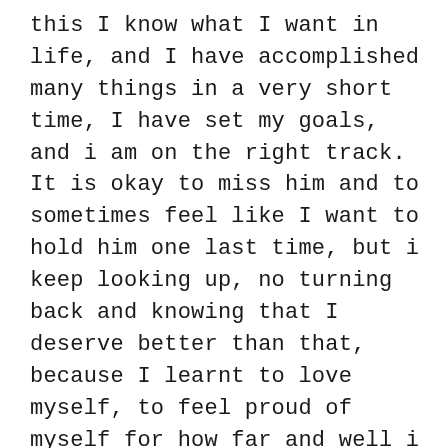this I know what I want in life, and I have accomplished many things in a very short time, I have set my goals, and i am on the right track. It is okay to miss him and to sometimes feel like I want to hold him one last time, but i keep looking up, no turning back and knowing that I deserve better than that, because I learnt to love myself, to feel proud of myself for how far and well i am doing and to realize that he will miss seen me growing. I feel fearless and no doubt in my heart where I belong and that this adventure is only mine.... I dont think dating is the best thing to do when you are trying to move on because it doesnt help giving hopes to someone who